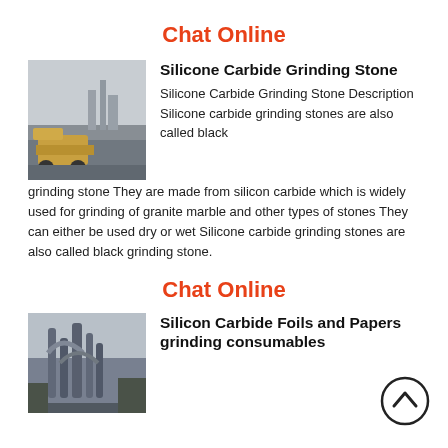Chat Online
[Figure (photo): Industrial site with heavy machinery/loader in foggy conditions]
Silicone Carbide Grinding Stone
Silicone Carbide Grinding Stone Description Silicone carbide grinding stones are also called black grinding stone They are made from silicon carbide which is widely used for grinding of granite marble and other types of stones They can either be used dry or wet Silicone carbide grinding stones are also called black grinding stone.
Chat Online
[Figure (photo): Industrial facility with large pipes and chimneys]
Silicon Carbide Foils and Papers grinding consumables